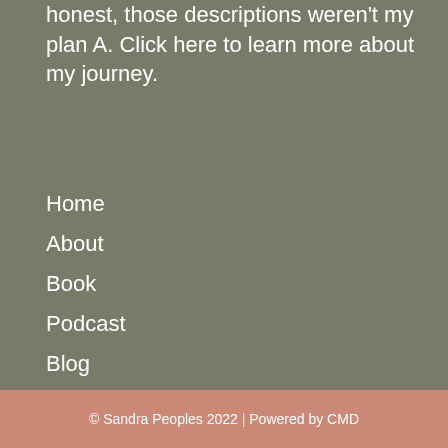honest, those descriptions weren't my plan A. Click here to learn more about my journey.
Home
About
Book
Podcast
Blog
© Sandra Peoples 2022 | Powered by CMD